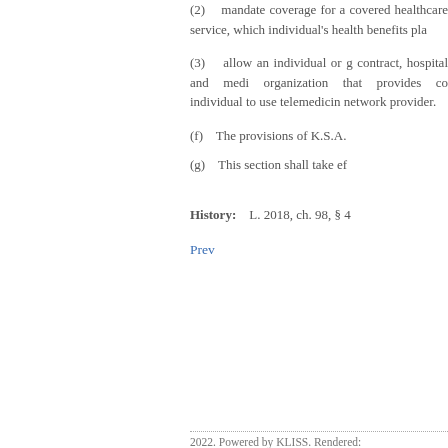(2)   mandate coverage for a covered healthcare service, which individual's health benefits pla
(3)   allow an individual or g contract, hospital and medi organization that provides co individual to use telemedicin network provider.
(f)   The provisions of K.S.A.
(g)   This section shall take ef
History:   L. 2018, ch. 98, § 4
Prev
2022. Powered by KLISS. Rendered: